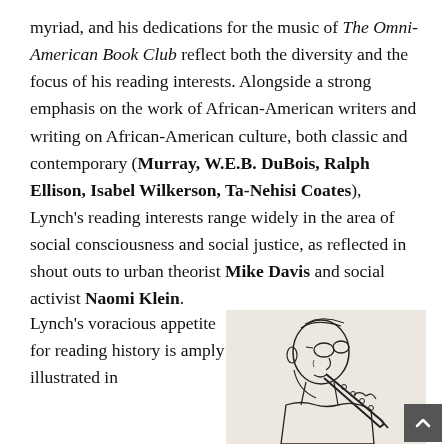myriad, and his dedications for the music of The Omni-American Book Club reflect both the diversity and the focus of his reading interests. Alongside a strong emphasis on the work of African-American writers and writing on African-American culture, both classic and contemporary (Murray, W.E.B. DuBois, Ralph Ellison, Isabel Wilkerson, Ta-Nehisi Coates), Lynch's reading interests range widely in the area of social consciousness and social justice, as reflected in shout outs to urban theorist Mike Davis and social activist Naomi Klein.
Lynch's voracious appetite for reading history is amply illustrated in
[Figure (illustration): Pen-and-ink sketch of a person playing a clarinet, profile view, wearing glasses, on a light beige/cream background.]